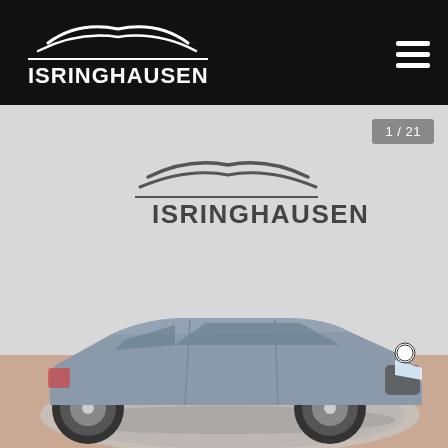[Figure (logo): Isringhausen dealership logo with car silhouette lines above the text ISRINGHAUSEN on black background header bar]
[Figure (photo): Gray BMW 5 Series sedan on a circular display platform inside a showroom with Isringhausen logo on white wall background. Counter badge shows 1/21 in upper right corner.]